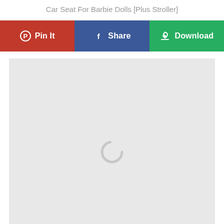Car Seat For Barbie Dolls [Plus Stroller]
[Figure (screenshot): Three social sharing buttons in a row: 'Pin It' (red, Pinterest icon), 'Share' (blue, Facebook icon), 'Download' (green, download icon)]
[Figure (screenshot): Large light gray content area with a loading spinner (circular arc) centered in the lower portion of the area]